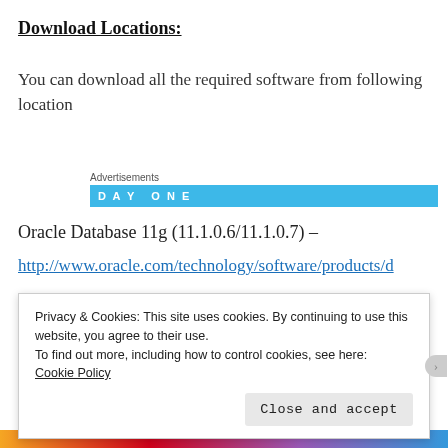Download Locations:
You can download all the required software from following location
[Figure (other): Advertisement banner with 'DAY ONE' text on a light blue background]
Oracle Database 11g (11.1.0.6/11.1.0.7) –
http://www.oracle.com/technology/software/products/database/index.html
Privacy & Cookies: This site uses cookies. By continuing to use this website, you agree to their use.
To find out more, including how to control cookies, see here:
Cookie Policy
Close and accept